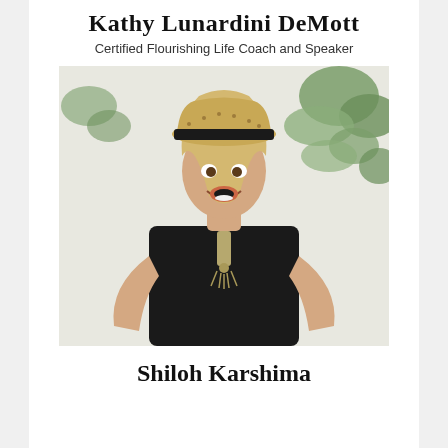Kathy Lunardini DeMott
Certified Flourishing Life Coach and Speaker
[Figure (photo): A woman with long blonde hair wearing a black sleeveless top and a fedora-style hat, laughing joyfully with hands on hips and a chandelier necklace, posed against a white wall with green ivy.]
Shiloh Karshima